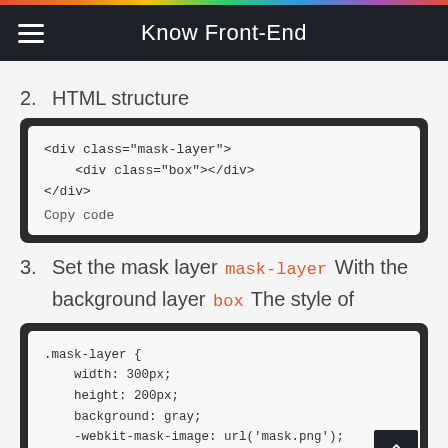Know Front-End
2.  HTML structure
[Figure (screenshot): Code block showing HTML structure with div class mask-layer containing div class box]
3.  Set the mask layer mask-layer With the background layer box The style of
[Figure (screenshot): Code block showing CSS for .mask-layer with width, height, background, -webkit-mask-image, and -webkit-mask-size properties]